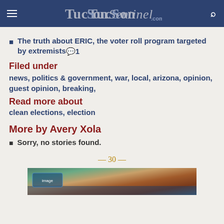TucsonSentinel.com
The truth about ERIC, the voter roll program targeted by extremists 1
Filed under
news, politics & government, war, local, arizona, opinion, guest opinion, breaking,
Read more about
clean elections, election
More by Avery Xola
Sorry, no stories found.
— 30 —
[Figure (photo): Partial view of a food/event image at the bottom of the page]